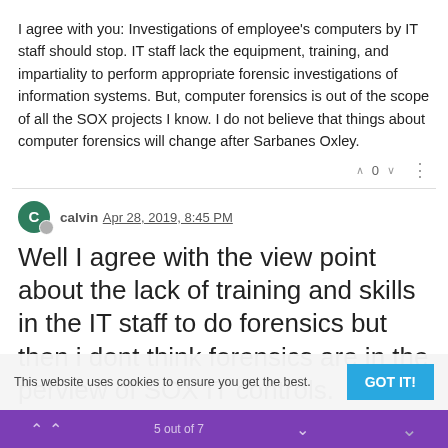I agree with you: Investigations of employee's computers by IT staff should stop. IT staff lack the equipment, training, and impartiality to perform appropriate forensic investigations of information systems. But, computer forensics is out of the scope of all the SOX projects I know. I do not believe that things about computer forensics will change after Sarbanes Oxley.
calvin Apr 28, 2019, 8:45 PM
Well I agree with the view point about the lack of training and skills in the IT staff to do forensics but then i dont think forensics are in the perview of SOX IT controls.
SOX is more about being proactive to prevent fraud (by placing controls) rather then r...
This website uses cookies to ensure you get the best.